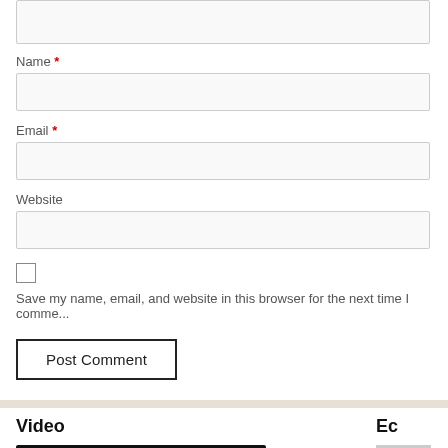[Figure (screenshot): Top portion of a web comment form showing a textarea input (partially visible at top)]
Name *
[Figure (screenshot): Text input field for Name]
Email *
[Figure (screenshot): Text input field for Email]
Website
[Figure (screenshot): Text input field for Website]
[Figure (screenshot): Checkbox (unchecked)]
Save my name, email, and website in this browser for the next time I comme...
[Figure (screenshot): Post Comment button]
Video
Ec
[Figure (screenshot): YouTube video thumbnail showing Ireland's Ancient East tour experience with a lighthouse coastal scene]